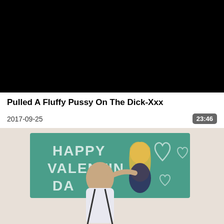[Figure (screenshot): Black video player area]
Pulled A Fluffy Pussy On The Dick-Xxx
2017-09-25
23:46
[Figure (photo): Photo showing two people in front of a green chalkboard with 'HAPPY VALENTINE DA' written on it with heart drawings]